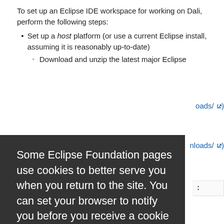To set up an Eclipse IDE workspace for working on Dali, perform the following steps:
Set up a host platform (or use a current Eclipse install, assuming it is reasonably up-to-date)
Download and unzip the latest major Eclipse
[Figure (screenshot): Cookie consent overlay on Eclipse Foundation page. Dark background with white text: 'Some Eclipse Foundation pages use cookies to better serve you when you return to the site. You can set your browser to notify you before you receive a cookie or turn off cookies. If you do so, however, some areas of some sites may not function properly. To read Eclipse Foundation Privacy Policy click here.' Two buttons: 'Decline' (white) and 'Allow cookies' (orange).]
Start the host platform